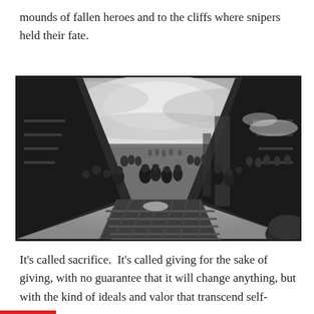mounds of fallen heroes and to the cliffs where snipers held their fate.
[Figure (photo): Famous D-Day Normandy beach landing photograph taken from a landing craft showing soldiers wading through water toward the beach, viewed from the ramp of the craft with soldiers visible on both sides, churning ocean water and a cloudy sky in the background. Black and white photograph.]
It's called sacrifice.  It's called giving for the sake of giving, with no guarantee that it will change anything, but with the kind of ideals and valor that transcend self-